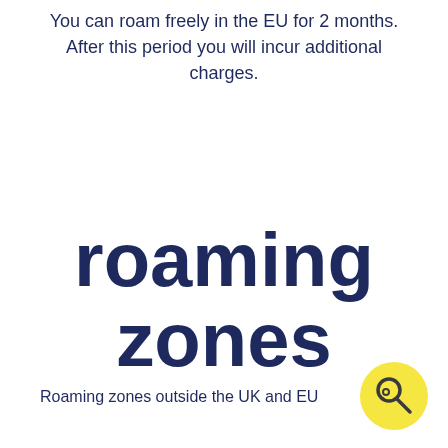You can roam freely in the EU for 2 months. After this period you will incur additional charges.
roaming zones
Roaming zones outside the UK and EU
[Figure (illustration): Yellow circle containing a magnifying glass icon]